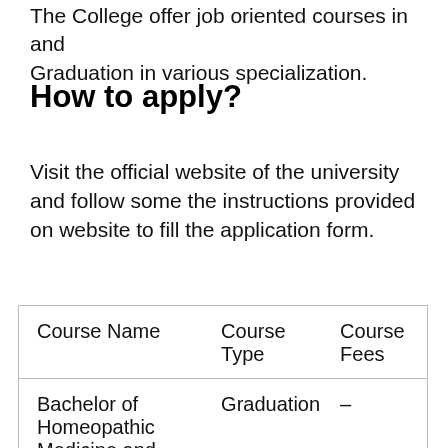The College offer job oriented courses in and Graduation in various specialization.
How to apply?
Visit the official website of the university and follow some the instructions provided on website to fill the application form.
| Course Name | Course Type | Course Fees |
| --- | --- | --- |
| Bachelor of Homeopathic Medicine and | Graduation | – |